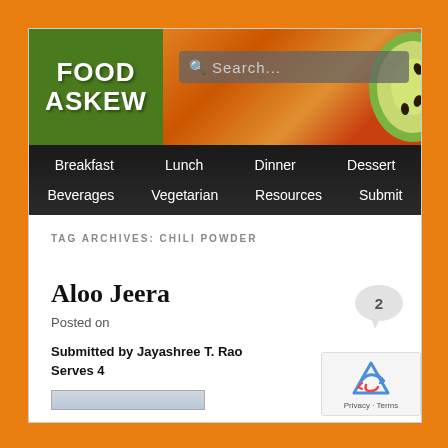[Figure (screenshot): Food Askew website header with green logo and orange fruit background with search bar]
Breakfast  Lunch  Dinner  Dessert  Beverages  Vegetarian  Resources  Submit
TAG ARCHIVES: CHILI POWDER
Aloo Jeera
Posted on
Submitted by Jayashree T. Rao
Serves 4